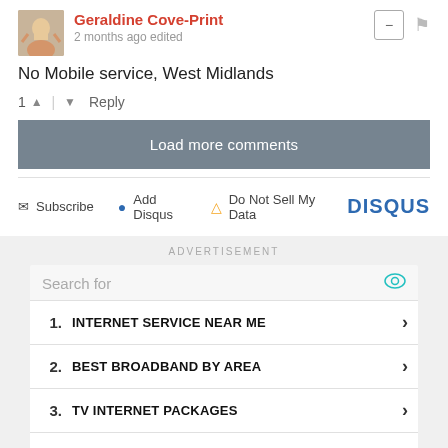Geraldine Cove-Print
2 months ago edited
No Mobile service, West Midlands
1 ▲ | ▼ Reply
Load more comments
Subscribe  Add Disqus  Do Not Sell My Data  DISQUS
ADVERTISEMENT
Search for
1. INTERNET SERVICE NEAR ME
2. BEST BROADBAND BY AREA
3. TV INTERNET PACKAGES
4. 5% INTEREST SAVINGS ACCOUNT